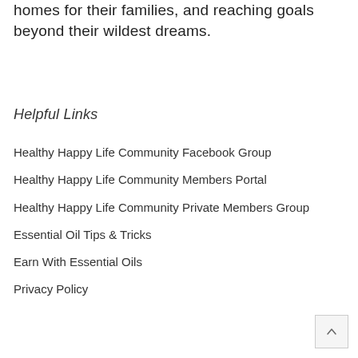homes for their families, and reaching goals beyond their wildest dreams.
Helpful Links
Healthy Happy Life Community Facebook Group
Healthy Happy Life Community Members Portal
Healthy Happy Life Community Private Members Group
Essential Oil Tips & Tricks
Earn With Essential Oils
Privacy Policy